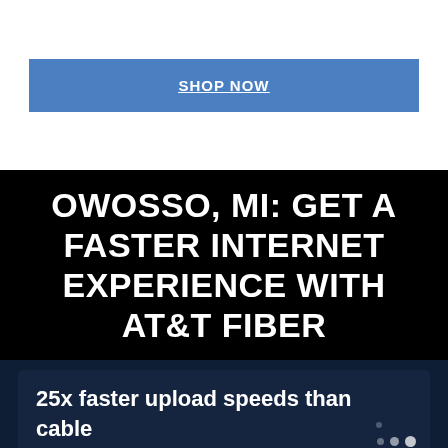SHOP NOW
OWOSSO, MI: GET A FASTER INTERNET EXPERIENCE WITH AT&T FIBER
25x faster upload speeds than cable